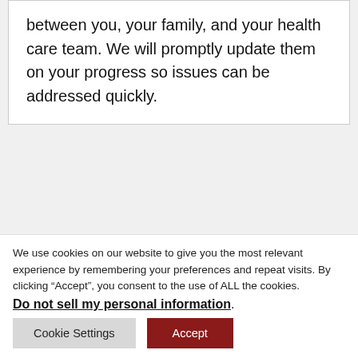between you, your family, and your health care team. We will promptly update them on your progress so issues can be addressed quickly.
SKILLED NURSING SERVICES
We use cookies on our website to give you the most relevant experience by remembering your preferences and repeat visits. By clicking “Accept”, you consent to the use of ALL the cookies.
Do not sell my personal information.